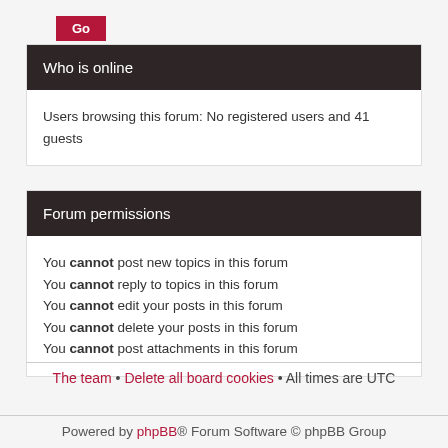Go
Who is online
Users browsing this forum: No registered users and 41 guests
Forum permissions
You cannot post new topics in this forum
You cannot reply to topics in this forum
You cannot edit your posts in this forum
You cannot delete your posts in this forum
You cannot post attachments in this forum
The team • Delete all board cookies • All times are UTC
Powered by phpBB® Forum Software © phpBB Group